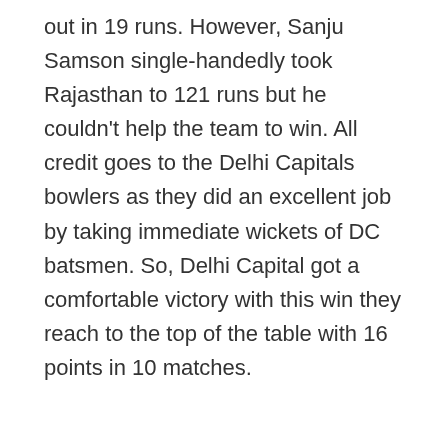out in 19 runs. However, Sanju Samson single-handedly took Rajasthan to 121 runs but he couldn't help the team to win. All credit goes to the Delhi Capitals bowlers as they did an excellent job by taking immediate wickets of DC batsmen. So, Delhi Capital got a comfortable victory with this win they reach to the top of the table with 16 points in 10 matches.
DC VS RR:- TOP PERFORMER FOR BOTH TEAMS
DELHI CAPITALS